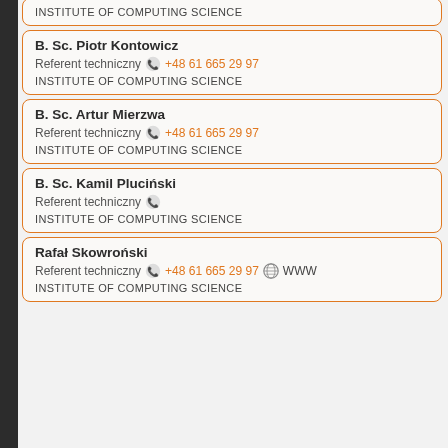INSTITUTE OF COMPUTING SCIENCE
B. Sc. Piotr Kontowicz
Referent techniczny  +48 61 665 29 97
INSTITUTE OF COMPUTING SCIENCE
B. Sc. Artur Mierzwa
Referent techniczny  +48 61 665 29 97
INSTITUTE OF COMPUTING SCIENCE
B. Sc. Kamil Pluciński
Referent techniczny
INSTITUTE OF COMPUTING SCIENCE
Rafał Skowroński
Referent techniczny  +48 61 665 29 97  WWW
INSTITUTE OF COMPUTING SCIENCE